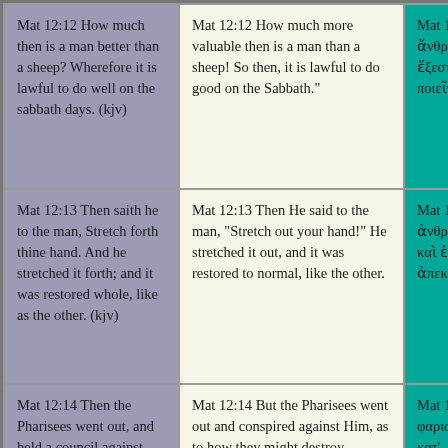| KJV | Modern English | Greek |
| --- | --- | --- |
| Mat 12:12 How much then is a man better than a sheep? Wherefore it is lawful to do well on the sabbath days. (kjv) | Mat 12:12 How much more valuable then is a man than a sheep! So then, it is lawful to do good on the Sabbath." | Mat 12:12 πούν διαφέρει ἄνθρωπος προβάτου. ῶστε ὔεστιν τοῖς σάββασιν καλὰν ποιεῖν. |
| Mat 12:13 Then saith he to the man, Stretch forth thine hand. And he stretched it forth; and it was restored whole, like as the other. (kjv) | Mat 12:13 Then He said to the man, "Stretch out your hand!" He stretched it out, and it was restored to normal, like the other. | Mat 12:13 τότε λέγει τῷ ἀνθρώπω, ἔκτεινόν σου χεῖρα. καὶ ἐξέτεινεν, καὶ ἀπεκατεστάθη ὑγιὴς ὡς ἡ ἄλλη. |
| Mat 12:14 Then the Pharisees went out, and held a council against him, how they... | Mat 12:14 But the Pharisees went out and conspired against Him, as to how they might destroy... | Mat 12:14 ἐξελθόντες δὲ οἱ φαρισαῖοι συμβούλιον ἔλαβον κατ'... |